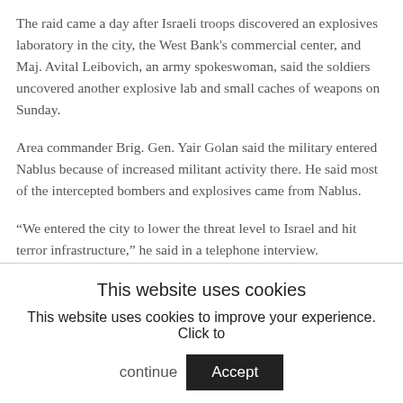The raid came a day after Israeli troops discovered an explosives laboratory in the city, the West Bank's commercial center, and Maj. Avital Leibovich, an army spokeswoman, said the soldiers uncovered another explosive lab and small caches of weapons on Sunday.
Area commander Brig. Gen. Yair Golan said the military entered Nablus because of increased militant activity there. He said most of the intercepted bombers and explosives came from Nablus.
“We entered the city to lower the threat level to Israel and hit terror infrastructure,” he said in a telephone interview.
This website uses cookies
This website uses cookies to improve your experience. Click to continue